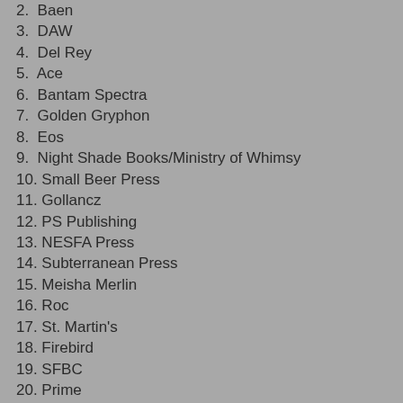2.  Baen
3.  DAW
4.  Del Rey
5.  Ace
6.  Bantam Spectra
7.  Golden Gryphon
8.  Eos
9.  Night Shade Books/Ministry of Whimsy
10. Small Beer Press
11. Gollancz
12. PS Publishing
13. NESFA Press
14. Subterranean Press
15. Meisha Merlin
16. Roc
17. St. Martin's
18. Firebird
19. SFBC
20. Prime
21. Orbit
22. Wildside Press
23. Warner Aspect